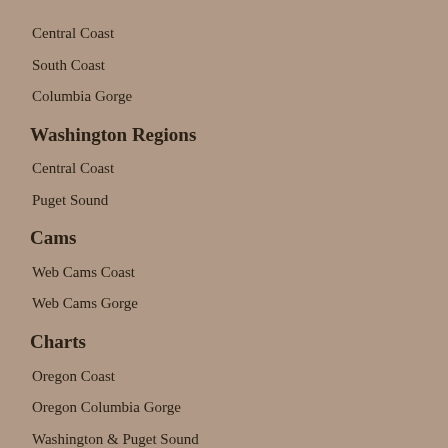Central Coast
South Coast
Columbia Gorge
Washington Regions
Central Coast
Puget Sound
Cams
Web Cams Coast
Web Cams Gorge
Charts
Oregon Coast
Oregon Columbia Gorge
Washington & Puget Sound
Contact
© 2023 - windsurforezon.com